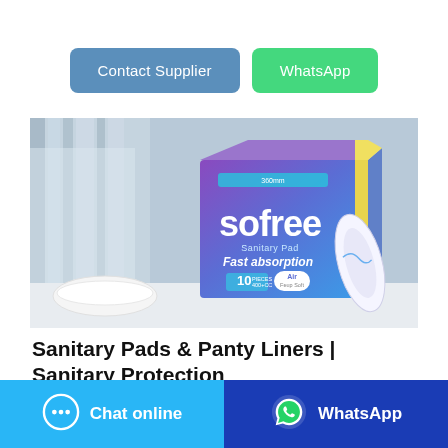[Figure (other): Two CTA buttons: 'Contact Supplier' (blue-grey) and 'WhatsApp' (green)]
[Figure (photo): Product photo of Sofree Sanitary Pad Fast Absorption box with an individual pad displayed, on a bathroom counter background]
Sanitary Pads & Panty Liners | Sanitary Protection
[Figure (other): Bottom bar with two buttons: 'Chat online' (light blue with chat bubble icon) and 'WhatsApp' (dark blue with WhatsApp icon)]